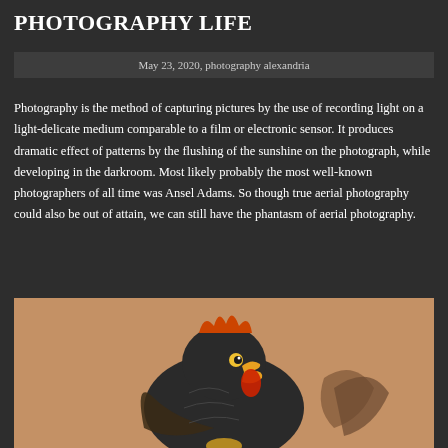PHOTOGRAPHY LIFE
May 23, 2020, photography alexandria
Photography is the method of capturing pictures by the use of recording light on a light-delicate medium comparable to a film or electronic sensor. It produces dramatic effect of patterns by the flushing of the sunshine on the photograph, while developing in the darkroom. Most likely probably the most well-known photographers of all time was Ansel Adams. So though true aerial photography could also be out of attain, we can still have the phantasm of aerial photography.
[Figure (photo): A tattoo of a rooster/chicken creature with angry expression, decorative feathers and wings, on skin background]